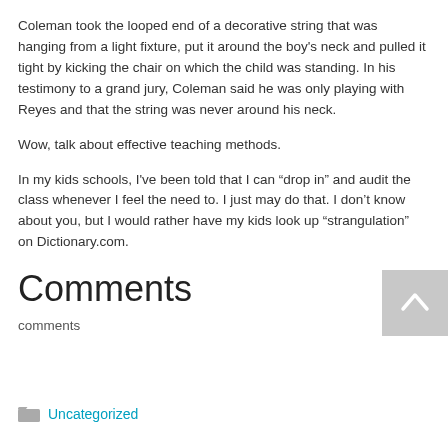Coleman took the looped end of a decorative string that was hanging from a light fixture, put it around the boy's neck and pulled it tight by kicking the chair on which the child was standing. In his testimony to a grand jury, Coleman said he was only playing with Reyes and that the string was never around his neck.
Wow, talk about effective teaching methods.
In my kids schools, I've been told that I can “drop in” and audit the class whenever I feel the need to. I just may do that. I don’t know about you, but I would rather have my kids look up “strangulation” on Dictionary.com.
Comments
comments
Uncategorized